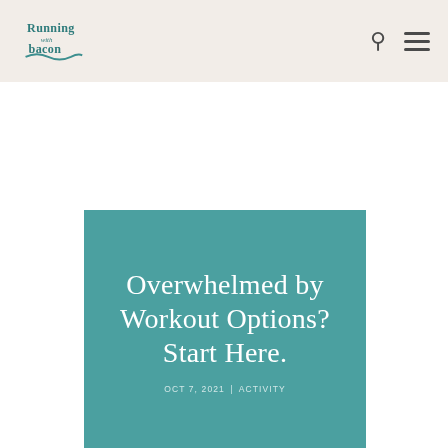Running with bacon
Overwhelmed by Workout Options? Start Here.
OCT 7, 2021 | ACTIVITY